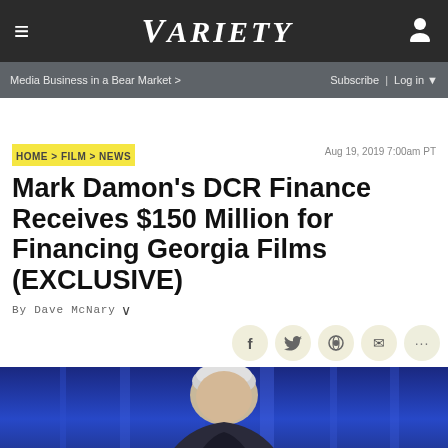VARIETY
Media Business in a Bear Market >  Subscribe | Log in
HOME > FILM > NEWS   Aug 19, 2019 7:00am PT
Mark Damon's DCR Finance Receives $150 Million for Financing Georgia Films (EXCLUSIVE)
By Dave McNary
[Figure (photo): Person photographed against blue/purple background, head and shoulders visible at bottom of page]